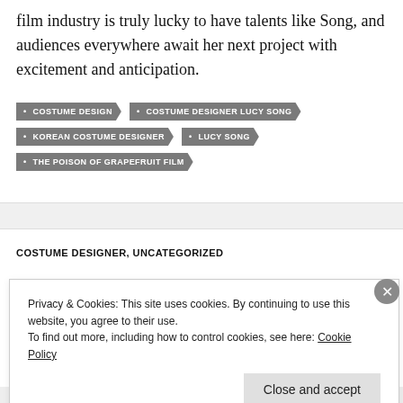film industry is truly lucky to have talents like Song, and audiences everywhere await her next project with excitement and anticipation.
COSTUME DESIGN
COSTUME DESIGNER LUCY SONG
KOREAN COSTUME DESIGNER
LUCY SONG
THE POISON OF GRAPEFRUIT FILM
COSTUME DESIGNER, UNCATEGORIZED
Privacy & Cookies: This site uses cookies. By continuing to use this website, you agree to their use.
To find out more, including how to control cookies, see here: Cookie Policy